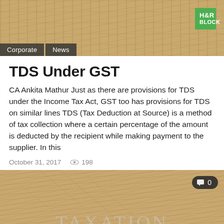[Figure (photo): Wooden texture header banner with H&R Block green logo in top right and navigation tabs 'Corporate' and 'News' at bottom left]
TDS Under GST
CA Ankita Mathur Just as there are provisions for TDS under the Income Tax Act, GST too has provisions for TDS on similar lines TDS (Tax Deduction at Source) is a method of tax collection where a certain percentage of the amount is deducted by the recipient while making payment to the supplier. In this
October 31, 2017    198
[Figure (photo): Wooden texture banner with 'TAXATION & COMPLIANCE' text engraved, comment badge showing '0' in top right corner]